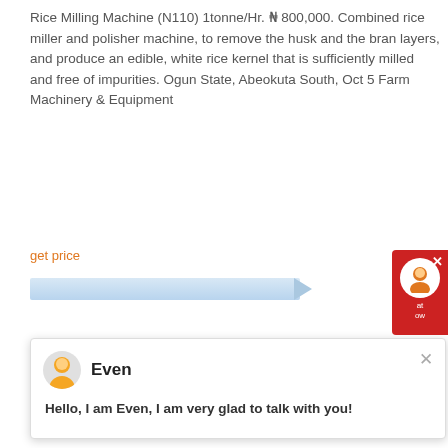Rice Milling Machine (N110) 1tonne/Hr. ₦ 800,000. Combined rice miller and polisher machine, to remove the husk and the bran layers, and produce an edible, white rice kernel that is sufficiently milled and free of impurities. Ogun State, Abeokuta South, Oct 5 Farm Machinery & Equipment
get price
[Figure (screenshot): Chat popup with avatar of a person labeled 'Even' and message: Hello, I am Even, I am very glad to talk with you!]
[Figure (photo): Outdoor industrial machinery structure with white powder/material on ground, timestamp visible]
13 FABRICATORS OF PALM OIL MILLING MACHINE IN NIGERIA
2019-10-4   Although some millers still hang on to the old tedious ways, there are now tools and machines available to